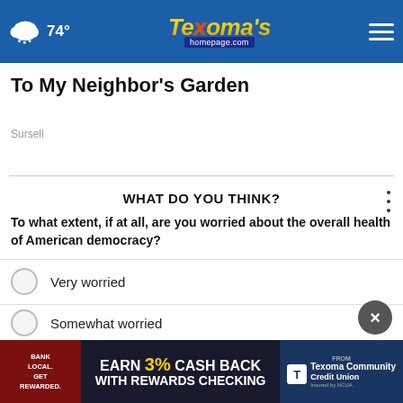74° Texoma's homepage.com
To My Neighbor's Garden
Sursell
WHAT DO YOU THINK?
To what extent, if at all, are you worried about the overall health of American democracy?
Very worried
Somewhat worried
Not at all worried
Other / No opinion
[Figure (infographic): Advertisement banner: BANK LOCAL. GET REWARDED. EARN 3% CASH BACK WITH REWARDS CHECKING from Texoma Community Credit Union]